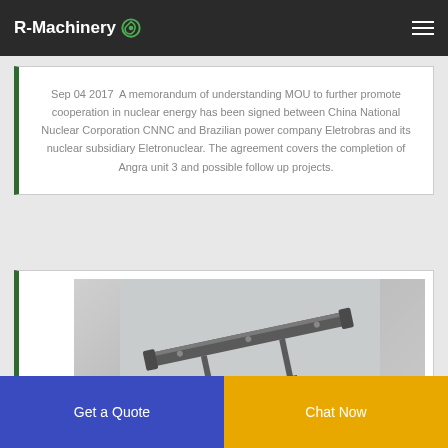R-Machinery
Sep 04 2017  A memorandum of understanding MOU to further promote cooperation in nuclear energy has been signed between China National Nuclear Corporation CNNC and Brazilian power company Eletrobras and its nuclear subsidiary Eletronuclear. The agreement covers the completion of Angra unit 3 and possible follow up projects.
[Figure (photo): Photo of a mechanical/industrial component — appears to be a rail or beam assembly shown at an angle against a light grey background.]
Get a Quote
Chat Now